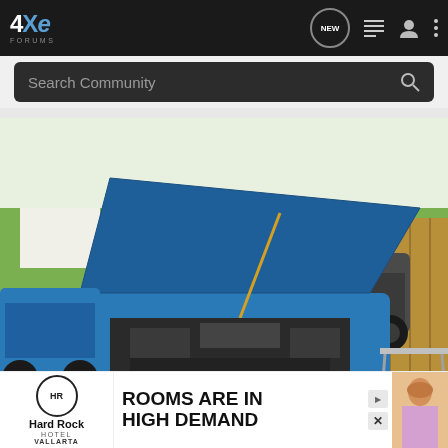4Xe Forums — navigation bar with logo, NEW button, list icon, user icon, more icon
Search Community
[Figure (photo): Blue Jeep Wrangler with hood open showing engine bay, parked in residential driveway/yard with other vehicles and houses visible in background]
Hard Rock Hotel VALLARTA — ROOMS ARE IN HIGH DEMAND